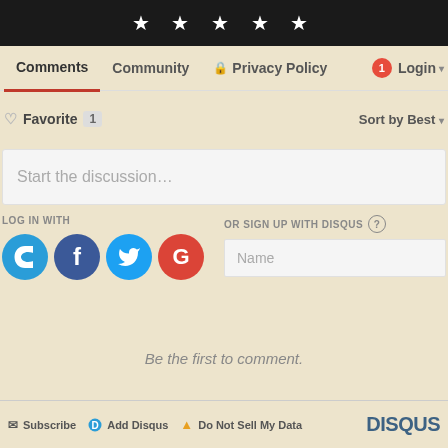[Figure (screenshot): Black top bar with five white stars centered]
Comments   Community   Privacy Policy   1   Login
♡ Favorite  1    Sort by Best ▾
Start the discussion…
LOG IN WITH
[Figure (logo): Social login icons: D (Disqus, blue), f (Facebook, dark blue), Twitter bird (light blue), G (Google, red)]
OR SIGN UP WITH DISQUS ?
Name
Be the first to comment.
✉ Subscribe   D Add Disqus   ▲ Do Not Sell My Data   DISQUS